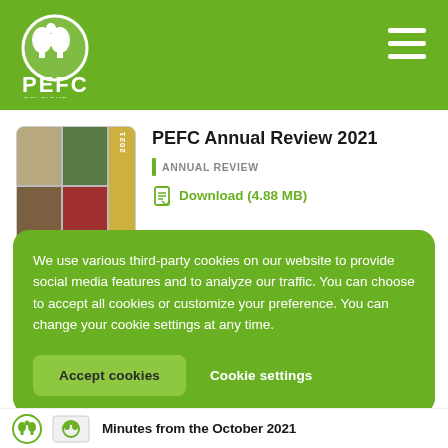PEFC
PEFC Annual Review 2021
ANNUAL REVIEW
Download (4.88 MB)
We use various third-party cookies on our website to provide social media features and to analyze our traffic. You can choose to accept all cookies or customize your preference. You can change your cookie settings at any time.
Accept cookies
Cookie settings
Minutes from the October 2021